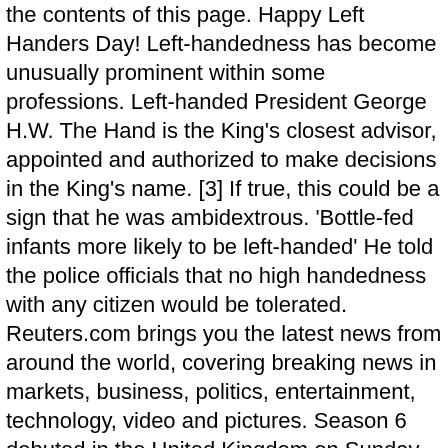the contents of this page. Happy Left Handers Day! Left-handedness has become unusually prominent within some professions. Left-handed President George H.W. The Hand is the King's closest advisor, appointed and authorized to make decisions in the King's name. [3] If true, this could be a sign that he was ambidextrous. 'Bottle-fed infants more likely to be left-handed' He told the police officials that no high handedness with any citizen would be tolerated. Reuters.com brings you the latest news from around the world, covering breaking news in markets, business, politics, entertainment, technology, video and pictures. Season 6 debuted in the United Kingdom on Sunday, January 21, 2007 on Sky One. Mivel léteznek, a rájuk mutató hivatkozások kékek, az olvasók tehát első ránézésre azt gondolhatják, hogy erről is van szócikk. A fielder's handedness is either a physical advantage or hindrance for similar reasons throughout the infield positions, and left-handedness is not always the more desirable dexterousness. For the political term, see Left-wing politics. Participer au concours et enregistrer votre nom dans la liste de